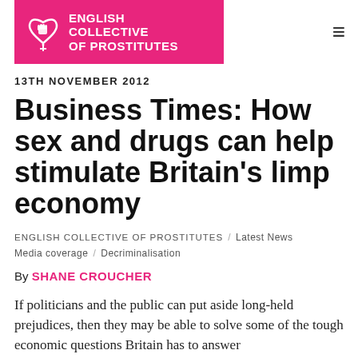English Collective of Prostitutes
13TH NOVEMBER 2012
Business Times: How sex and drugs can help stimulate Britain’s limp economy
ENGLISH COLLECTIVE OF PROSTITUTES / Latest News / Media coverage / Decriminalisation
By SHANE CROUCHER
If politicians and the public can put aside long-held prejudices, then they may be able to solve some of the tough economic questions Britain has to answer